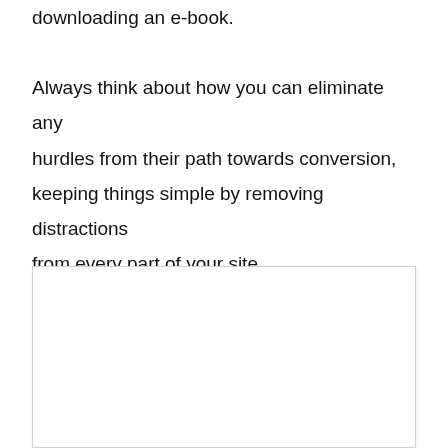downloading an e-book. Always think about how you can eliminate any hurdles from their path towards conversion, keeping things simple by removing distractions from every part of your site.
[Figure (other): A blank white rectangular box with a light gray border, likely a placeholder for an image or screenshot.]